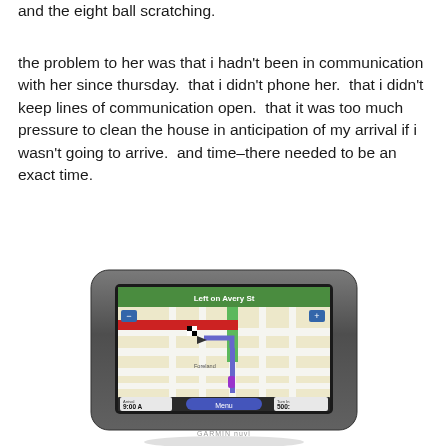and the eight ball scratching.
the problem to her was that i hadn't been in communication with her since thursday.  that i didn't phone her.  that i didn't keep lines of communication open.  that it was too much pressure to clean the house in anticipation of my arrival if i wasn't going to arrive.  and time–there needed to be an exact time.
[Figure (photo): A Garmin nuvi GPS device showing a map navigation screen with 'Left on Avery St' instruction, arrival time 9:00, and Turn In 500, displayed on a map with streets and a route.]